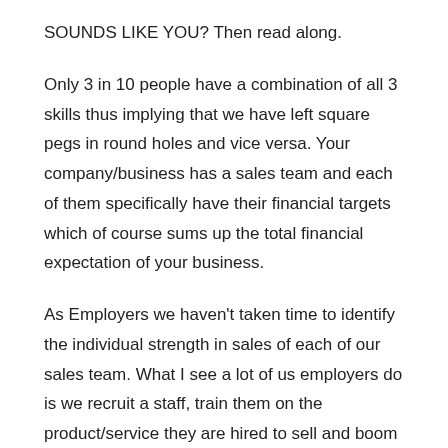SOUNDS LIKE YOU? Then read along.
Only 3 in 10 people have a combination of all 3 skills thus implying that we have left square pegs in round holes and vice versa. Your company/business has a sales team and each of them specifically have their financial targets which of course sums up the total financial expectation of your business.
As Employers we haven't taken time to identify the individual strength in sales of each of our sales team. What I see a lot of us employers do is we recruit a staff, train them on the product/service they are hired to sell and boom throw them into the market to go and bring the money.
For some people it works temporarily and after a while were back to where we started from which is motivating them to sell sell and